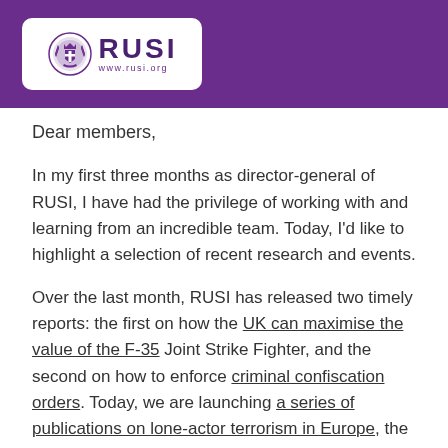[Figure (logo): RUSI logo with emblem and www.rusi.org URL on white rounded rectangle against purple header background]
Dear members,
In my first three months as director-general of RUSI, I have had the privilege of working with and learning from an incredible team. Today, I'd like to highlight a selection of recent research and events.
Over the last month, RUSI has released two timely reports: the first on how the UK can maximise the value of the F-35 Joint Strike Fighter, and the second on how to enforce criminal confiscation orders. Today, we are launching a series of publications on lone-actor terrorism in Europe, the culmination of an